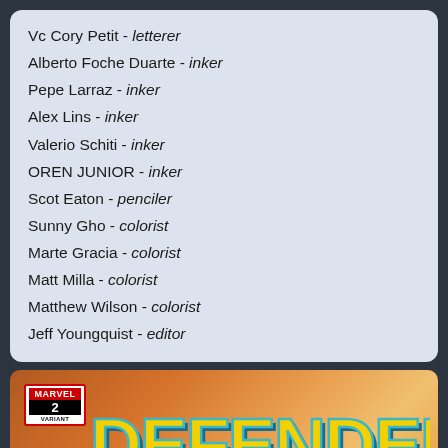Vc Cory Petit - letterer
Alberto Foche Duarte - inker
Pepe Larraz - inker
Alex Lins - inker
Valerio Schiti - inker
OREN JUNIOR - inker
Scot Eaton - penciler
Sunny Gho - colorist
Marte Gracia - colorist
Matt Milla - colorist
Matthew Wilson - colorist
Jeff Youngquist - editor
[Figure (illustration): Bottom portion of a Marvel Defenders comic book cover showing the Marvel logo badge with number 2, and the large stylized 'DEFENDERS' title text in yellow and teal with a 3D effect, on an orange/brown background.]